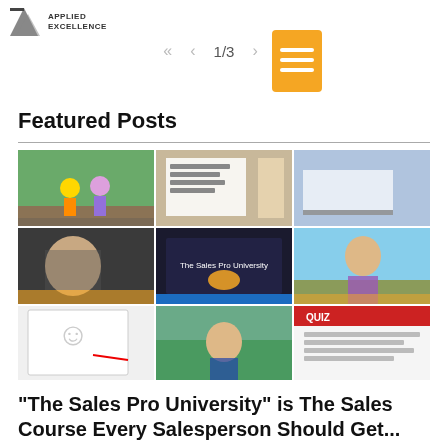APPLIED EXCELLENCE
1/3
[Figure (illustration): Orange document/notes icon with three horizontal white lines]
Featured Posts
[Figure (photo): 3x3 collage of sales course video thumbnails including animated characters, people in offices, a presenter outdoors, and The Sales Pro University logo overlay]
"The Sales Pro University" is The Sales Course Every Salesperson Should Get...